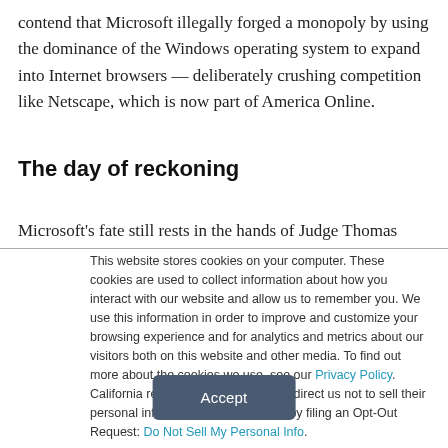contend that Microsoft illegally forged a monopoly by using the dominance of the Windows operating system to expand into Internet browsers — deliberately crushing competition like Netscape, which is now part of America Online.
The day of reckoning
Microsoft's fate still rests in the hands of Judge Thomas
This website stores cookies on your computer. These cookies are used to collect information about how you interact with our website and allow us to remember you. We use this information in order to improve and customize your browsing experience and for analytics and metrics about our visitors both on this website and other media. To find out more about the cookies we use, see our Privacy Policy. California residents have the right to direct us not to sell their personal information to third parties by filing an Opt-Out Request: Do Not Sell My Personal Info.
Accept